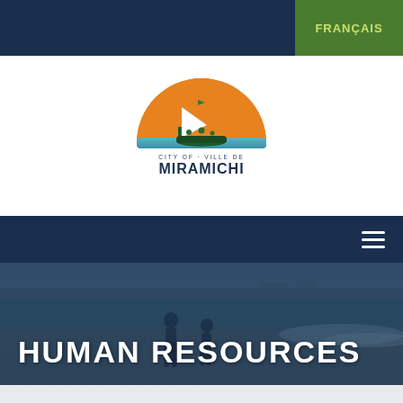FRANÇAIS
[Figure (logo): City of Miramichi / Ville de Miramichi logo with sailing ship in front of a golden/orange sunrise semicircle with blue water, with text CITY OF · VILLE DE MIRAMICHI]
[Figure (photo): Two people standing on a sandy beach with ocean water, under a blue-tinted atmospheric overlay. The scene shows a shoreline with buildings in the background.]
HUMAN RESOURCES